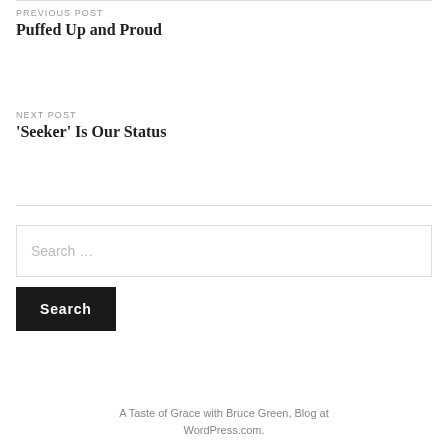PREVIOUS POST
Puffed Up and Proud
NEXT POST
‘Seeker’ Is Our Status
Search …
Search
A Taste of Grace with Bruce Green, Blog at WordPress.com.